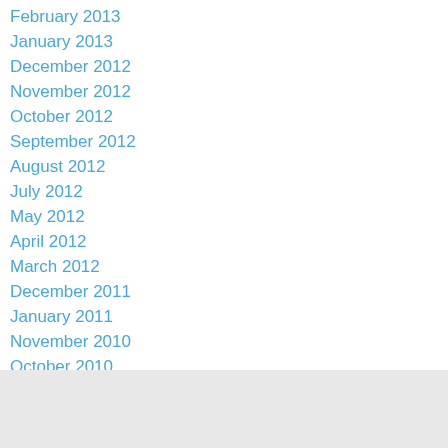February 2013
January 2013
December 2012
November 2012
October 2012
September 2012
August 2012
July 2012
May 2012
April 2012
March 2012
December 2011
January 2011
November 2010
October 2010
June 2010